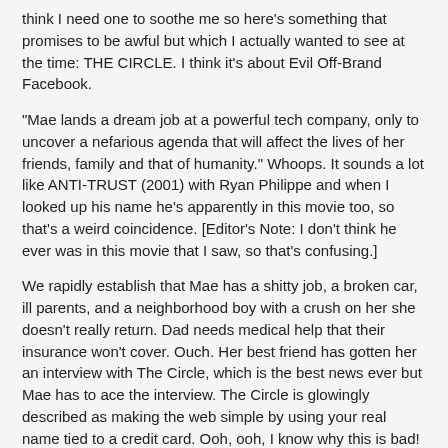think I need one to soothe me so here's something that promises to be awful but which I actually wanted to see at the time: THE CIRCLE. I think it's about Evil Off-Brand Facebook.
"Mae lands a dream job at a powerful tech company, only to uncover a nefarious agenda that will affect the lives of her friends, family and that of humanity." Whoops. It sounds a lot like ANTI-TRUST (2001) with Ryan Philippe and when I looked up his name he's apparently in this movie too, so that's a weird coincidence. [Editor's Note: I don't think he ever was in this movie that I saw, so that's confusing.]
We rapidly establish that Mae has a shitty job, a broken car, ill parents, and a neighborhood boy with a crush on her she doesn't really return. Dad needs medical help that their insurance won't cover. Ouch. Her best friend has gotten her an interview with The Circle, which is the best news ever but Mae has to ace the interview. The Circle is glowingly described as making the web simple by using your real name tied to a credit card. Ooh, ooh, I know why this is bad! Call on me, a trans person!